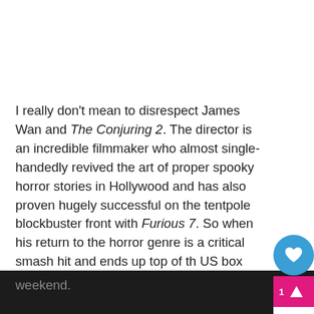I really don't mean to disrespect James Wan and The Conjuring 2. The director is an incredible filmmaker who almost single-handedly revived the art of proper spooky horror stories in Hollywood and has also proven hugely successful on the tentpole blockbuster front with Furious 7. So when his return to the horror genre is a critical smash hit and ends up top of the US box office chart on opening weekend, bringing in $40 million, then it deserves to be lauded. And I am doing just that. Laud, laud, laud. But I'm also trying to get through this paragraph as quickly as possible to tell the real big box office story of the weekend.